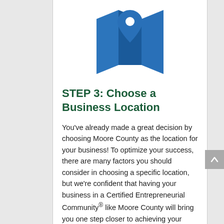[Figure (illustration): Blue map/location pin icon on a grey background, centered at top of white card panel]
STEP 3: Choose a Business Location
You've already made a great decision by choosing Moore County as the location for your business! To optimize your success, there are many factors you should consider in choosing a specific location, but we're confident that having your business in a Certified Entrepreneurial Community® like Moore County will bring you one step closer to achieving your business goals.
Quick links: